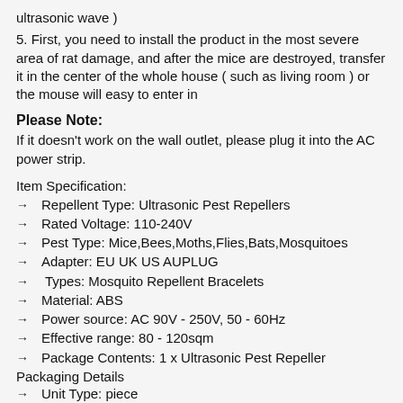ultrasonic wave )
5. First, you need to install the product in the most severe area of rat damage, and after the mice are destroyed, transfer it in the center of the whole house ( such as living room ) or the mouse will easy to enter in
Please Note:
If it doesn't work on the wall outlet, please plug it into the AC power strip.
Item Specification:
Repellent Type: Ultrasonic Pest Repellers
Rated Voltage: 110-240V
Pest Type: Mice,Bees,Moths,Flies,Bats,Mosquitoes
Adapter: EU UK US AUPLUG
Types: Mosquito Repellent Bracelets
Material: ABS
Power source: AC 90V - 250V, 50 - 60Hz
Effective range: 80 - 120sqm
Package Contents: 1 x Ultrasonic Pest Repeller
Packaging Details
Unit Type: piece
Package Weight: 0.12kg (0.26lb.)
Package Size: ...